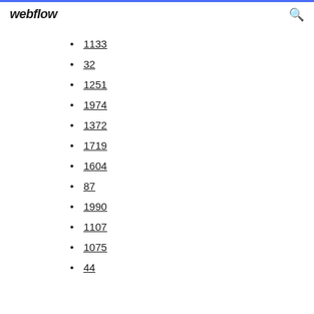webflow
1133
32
1251
1974
1372
1719
1604
87
1990
1107
1075
44